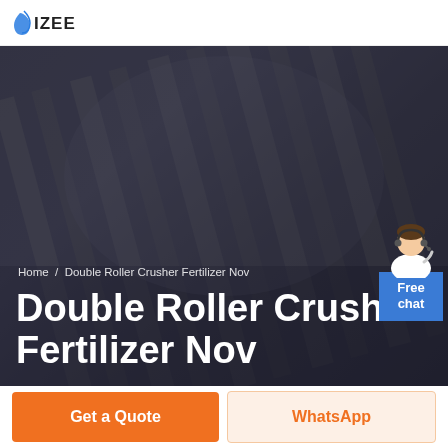IZEE (logo)
[Figure (photo): Dark hero banner image with a person wearing a black-and-white striped top, overlaid with dark blue/grey tint. Contains breadcrumb navigation and large title text.]
Home / Double Roller Crusher Fertilizer Nov
Double Roller Crusher Fertilizer Nov
Free chat
Get a Quote
WhatsApp